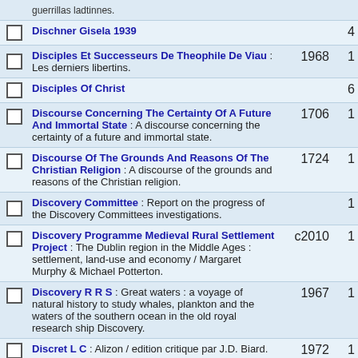guerrillas ladtinnes.
Dischner Gisela 1939 — 4
Disciples Et Successeurs De Theophile De Viau : Les derniers libertins. 1968 1
Disciples Of Christ — 6
Discourse Concerning The Certainty Of A Future And Immortal State : A discourse concerning the certainty of a future and immortal state. 1706 1
Discourse Of The Grounds And Reasons Of The Christian Religion : A discourse of the grounds and reasons of the Christian religion. 1724 1
Discovery Committee : Report on the progress of the Discovery Committees investigations. 1
Discovery Programme Medieval Rural Settlement Project : The Dublin region in the Middle Ages : settlement, land-use and economy / Margaret Murphy & Michael Potterton. c2010 1
Discovery R R S : Great waters : a voyage of natural history to study whales, plankton and the waters of the southern ocean in the old royal research ship Discovery. 1967 1
Discret L C : Alizon / edition critique par J.D. Biard. 1972 1
Diso John R : Causes of variation in chemical... 1961